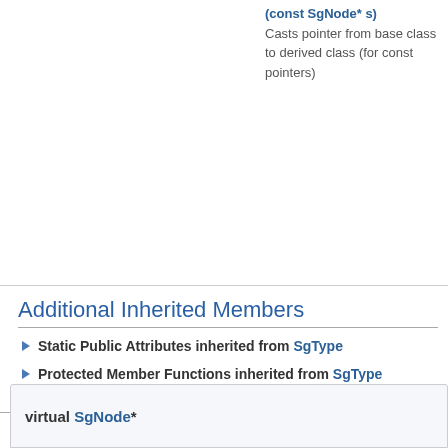(const SgNode* s) Casts pointer from base class to derived class (for const pointers)
Additional Inherited Members
Static Public Attributes inherited from SgType
Protected Member Functions inherited from SgType
Protected Member Functions inherited from SgNode
Protected Attributes inherited from SgType
Protected Attributes inherited from SgNode
Member Function Documentation
virtual SgNode*